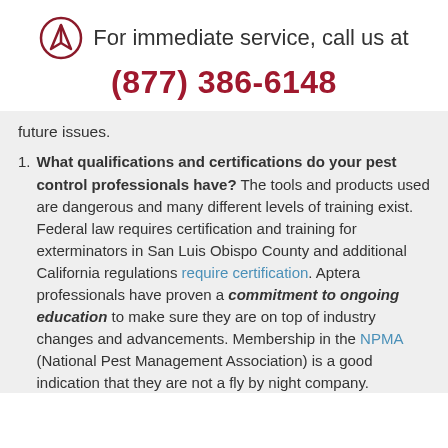For immediate service, call us at (877) 386-6148
future issues.
What qualifications and certifications do your pest control professionals have? The tools and products used are dangerous and many different levels of training exist. Federal law requires certification and training for exterminators in San Luis Obispo County and additional California regulations require certification. Aptera professionals have proven a commitment to ongoing education to make sure they are on top of industry changes and advancements. Membership in the NPMA (National Pest Management Association) is a good indication that they are not a fly by night company.
Who pays if there is damage to my property? You